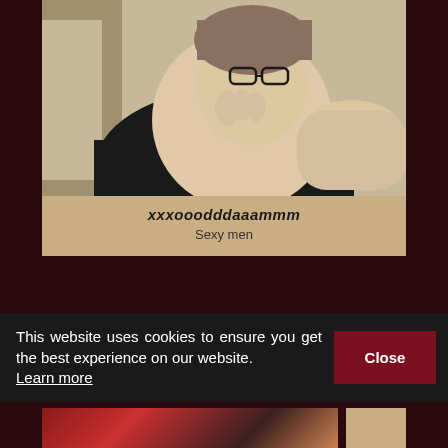[Figure (photo): Webcam-style photo of a person with glasses wearing a dark top, hand raised near face, against a light wall background]
xxxooodddaaammm
Sexy men
This website uses cookies to ensure you get the best experience on our website. Learn more
Close